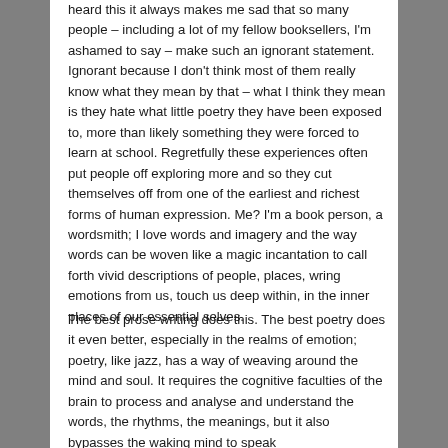heard this it always makes me sad that so many people – including a lot of my fellow booksellers, I'm ashamed to say – make such an ignorant statement. Ignorant because I don't think most of them really know what they mean by that – what I think they mean is they hate what little poetry they have been exposed to, more than likely something they were forced to learn at school. Regretfully these experiences often put people off exploring more and so they cut themselves off from one of the earliest and richest forms of human expression. Me? I'm a book person, a wordsmith; I love words and imagery and the way words can be woven like a magic incantation to call forth vivid descriptions of people, places, wring emotions from us, touch us deep within, in the inner places of our essential selves.
The best prose writing does this. The best poetry does it even better, especially in the realms of emotion; poetry, like jazz, has a way of weaving around the mind and soul. It requires the cognitive faculties of the brain to process and analyse and understand the words, the rhythms, the meanings, but it also bypasses the waking mind to speak